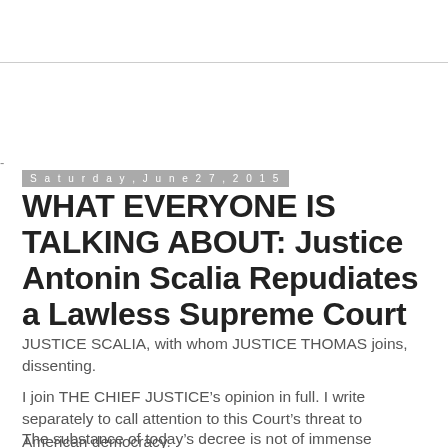Saturday, June 27, 2015
WHAT EVERYONE IS TALKING ABOUT: Justice Antonin Scalia Repudiates a Lawless Supreme Court
JUSTICE SCALIA, with whom JUSTICE THOMAS joins, dissenting.
I join THE CHIEF JUSTICE’s opinion in full. I write separately to call attention to this Court’s threat to American democracy.
The substance of today’s decree is not of immense personal importance to me. The law can recognize as marriage whatever sexual attachments and living arrangements it wishes, and can accord them favorable civil